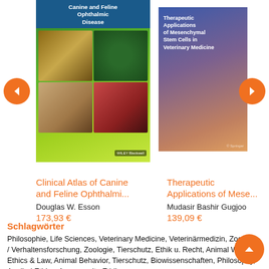[Figure (photo): Book cover: Clinical Atlas of Canine and Feline Ophthalmic Disease by Douglas W. Esson, Wiley-Blackwell, green background with eye images]
[Figure (photo): Book cover: Therapeutic Applications of Mesenchymal Stem Cells in Veterinary Medicine by Mudasir Bashir Gugjoo, Springer, blue-orange gradient background]
Clinical Atlas of Canine and Feline Ophthalmi...
Douglas W. Esson
173,93 €
Therapeutic Applications of Mese...
Mudasir Bashir Gugjoo
139,09 €
Schlagwörter
Philosophie, Life Sciences, Veterinary Medicine, Veterinärmedizin, Zoologie / Verhaltensforschung, Zoologie, Tierschutz, Ethik u. Recht, Animal Welfare, Ethics & Law, Animal Behavior, Tierschutz, Biowissenschaften, Philosophy, Applied Ethics, Angewandte Ethik